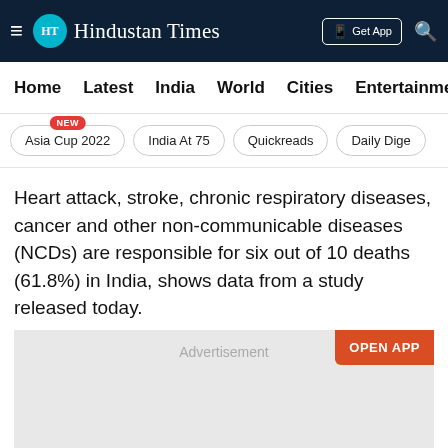[Figure (screenshot): Hindustan Times website header with dark navy background, HT logo circle in teal, 'Hindustan Times' in serif font, 'Get App' button and search icon]
Home | Latest | India | World | Cities | Entertainmen
Asia Cup 2022 NEW | India At 75 | Quickreads | Daily Dige
Heart attack, stroke, chronic respiratory diseases, cancer and other non-communicable diseases (NCDs) are responsible for six out of 10 deaths (61.8%) in India, shows data from a study released today.
[Figure (other): Advertisement placeholder with gray background and OPEN APP button]